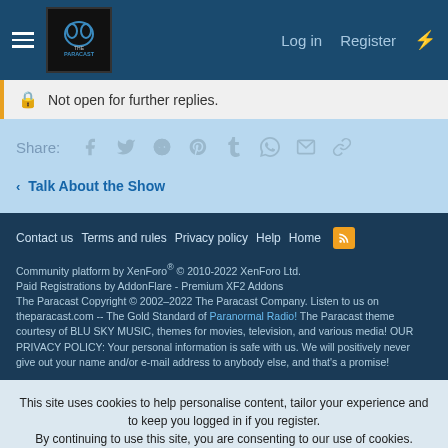The Paracast - Log in - Register
Not open for further replies.
Share: [social icons: Facebook, Twitter, Reddit, Pinterest, Tumblr, WhatsApp, Email, Link]
< Talk About the Show
Contact us  Terms and rules  Privacy policy  Help  Home [RSS]
Community platform by XenForo® © 2010-2022 XenForo Ltd.
Paid Registrations by AddonFlare - Premium XF2 Addons
The Paracast Copyright © 2002–2022 The Paracast Company. Listen to us on theparacast.com -- The Gold Standard of Paranormal Radio! The Paracast theme courtesy of BLU SKY MUSIC, themes for movies, television, and various media! OUR PRIVACY POLICY: Your personal information is safe with us. We will positively never give out your name and/or e-mail address to anybody else, and that's a promise!
This site uses cookies to help personalise content, tailor your experience and to keep you logged in if you register.
By continuing to use this site, you are consenting to our use of cookies.
[Accept] [Learn more...]